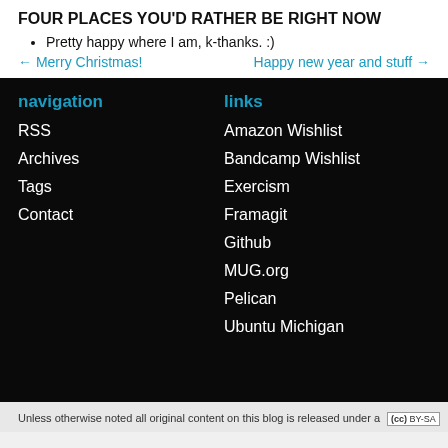FOUR PLACES YOU'D RATHER BE RIGHT NOW
Pretty happy where I am, k-thanks. :)
← Merry Christmas!    Happy new year and stuff →
navigation
RSS
Archives
Tags
Contact
links
Amazon Wishlist
Bandcamp Wishlist
Exercism
Framagit
Github
MUG.org
Pelican
Ubuntu Michigan
Unless otherwise noted all original content on this blog is released under a [cc] BY-SA